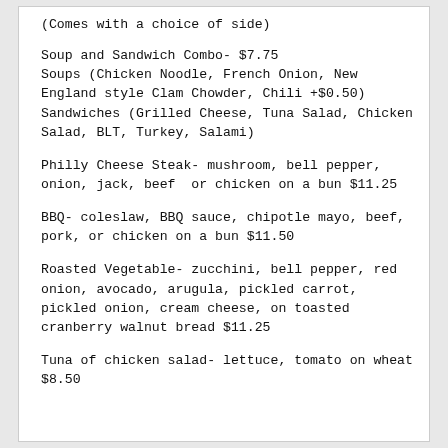(Comes with a choice of side)
Soup and Sandwich Combo- $7.75
Soups (Chicken Noodle, French Onion, New England style Clam Chowder, Chili +$0.50)
Sandwiches (Grilled Cheese, Tuna Salad, Chicken Salad, BLT, Turkey, Salami)
Philly Cheese Steak- mushroom, bell pepper, onion, jack, beef  or chicken on a bun $11.25
BBQ- coleslaw, BBQ sauce, chipotle mayo, beef, pork, or chicken on a bun $11.50
Roasted Vegetable- zucchini, bell pepper, red onion, avocado, arugula, pickled carrot, pickled onion, cream cheese, on toasted cranberry walnut bread $11.25
Tuna of chicken salad- lettuce, tomato on wheat $8.50